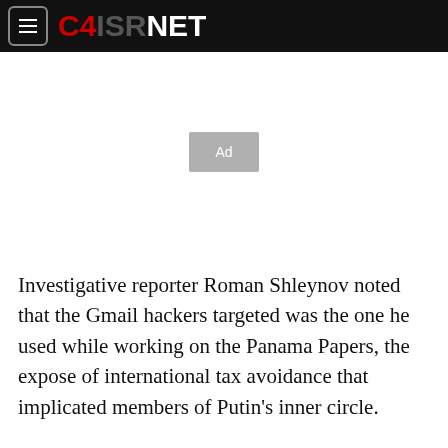C4ISRNET
[Figure (other): Advertisement placeholder box labeled 'Ad']
Investigative reporter Roman Shleynov noted that the Gmail hackers targeted was the one he used while working on the Panama Papers, the expose of international tax avoidance that implicated members of Putin's inner circle.